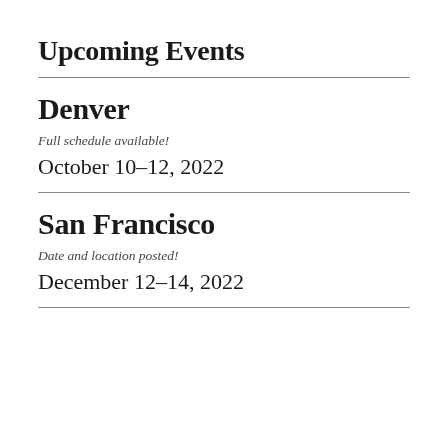Upcoming Events
Denver
Full schedule available!
October 10–12, 2022
San Francisco
Date and location posted!
December 12–14, 2022